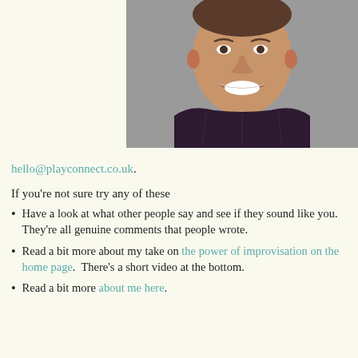[Figure (photo): Headshot of a smiling middle-aged man wearing a dark plaid shirt, photographed against a grey background.]
hello@playconnect.co.uk.
If you're not sure try any of these
Have a look at what other people say and see if they sound like you.  They're all genuine comments that people wrote.
Read a bit more about my take on the power of improvisation on the home page.  There's a short video at the bottom.
Read a bit more about me here.